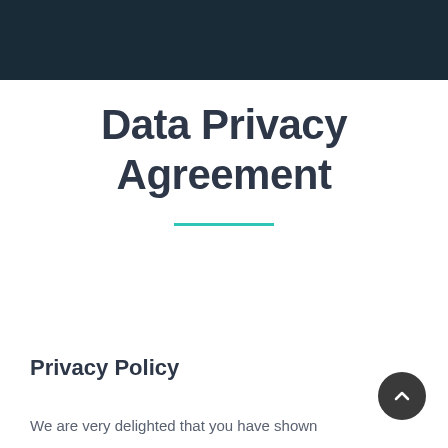Data Privacy Agreement
Privacy Policy
We are very delighted that you have shown